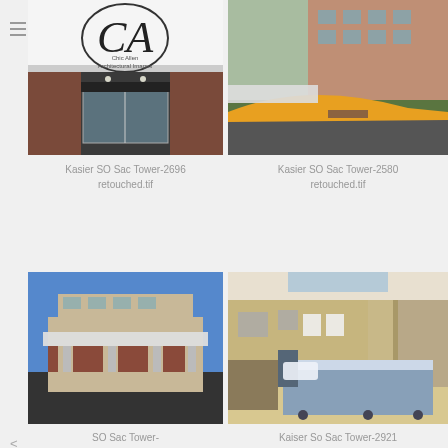[Figure (photo): CA Chic Allen Architectural Images logo with serif CA lettermark]
[Figure (photo): Exterior architectural photo of Kaiser SO Sac Tower entrance with glass doors and brick facade]
[Figure (photo): Exterior photo of Kaiser SO Sac Tower with yellow curb road and landscaping]
Kasier SO Sac Tower-2696 retouched.tif
Kasier SO Sac Tower-2580 retouched.tif
[Figure (photo): Exterior architectural photo of SO Sac Tower building with large canopy under blue sky]
[Figure (photo): Interior hospital room photo with patient bed and medical equipment]
SO Sac Tower-2433.tif
Kaiser So Sac Tower-2921 retouched.tif